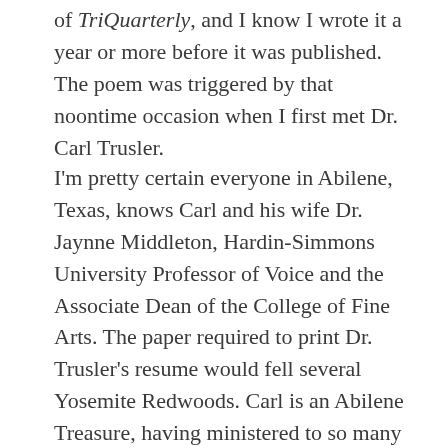of TriQuarterly, and I know I wrote it a year or more before it was published. The poem was triggered by that noontime occasion when I first met Dr. Carl Trusler.
I'm pretty certain everyone in Abilene, Texas, knows Carl and his wife Dr. Jaynne Middleton, Hardin-Simmons University Professor of Voice and the Associate Dean of the College of Fine Arts. The paper required to print Dr. Trusler's resume would fell several Yosemite Redwoods. Carl is an Abilene Treasure, having ministered to so many Abilene families as their physician.  He graduated from Hardin-Simmons in 1968 and from the Baylor College of Medicine in